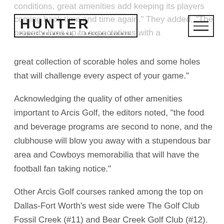HUNTER PUBLIC RELATIONS | SPECIAL EVENTS
conditions, great amenities add keeping its players coming back time and time again.” They added, “The property lives up to expectations with a great collection of scorable holes and some holes that will challenge every aspect of your game.”
Acknowledging the quality of other amenities important to Arcis Golf, the editors noted, “the food and beverage programs are second to none, and the clubhouse will blow you away with a stupendous bar area and Cowboys memorabilia that will have the football fan taking notice.”
Other Arcis Golf courses ranked among the top on Dallas-Fort Worth’s west side were The Golf Club Fossil Creek (#11) and Bear Creek Golf Club (#12).